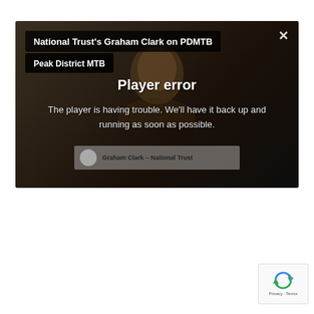[Figure (screenshot): Video player showing a player error overlay. The player has a dark background with a partially visible face. Title bar reads 'National Trust's Graham Clark on PDMTB' with a channel badge 'Peak District MTB' and a close (X) button. Center shows 'Player error' heading and message 'The player is having trouble. We'll have it back up and running as soon as possible.' Bottom shows a caption bar with 'Graham Clark – National Trust'. Bottom-right corner shows a reCAPTCHA badge with Privacy and Terms links.]